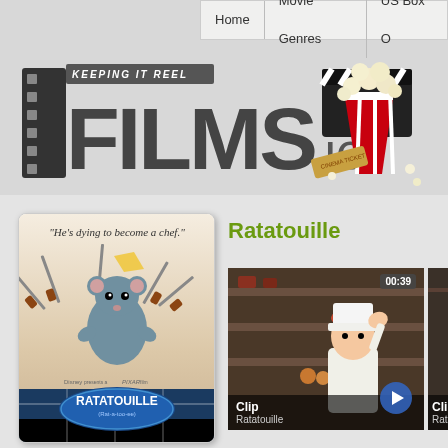Home | Movie Genres | US Box O
[Figure (logo): Films.ie website logo with film strip, 'Keeping It Reel' tagline, and popcorn/clapboard illustration]
[Figure (photo): Ratatouille movie poster - animated rat surrounded by knives with text 'He's dying to become a chef.']
Ratatouille
[Figure (screenshot): Video clip thumbnail from Ratatouille movie showing animated chef character, labeled 'Clip - Ratatouille', duration 00:39]
[Figure (screenshot): Partially visible second video clip thumbnail from Ratatouille, labeled 'Clip - Rata...']